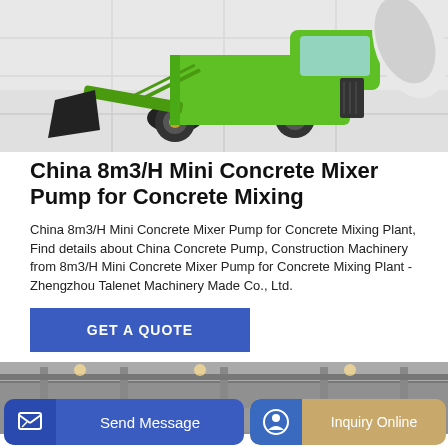[Figure (photo): Green concrete mixer pump machine with bucket attachment on a light gray tiled floor background]
China 8m3/H Mini Concrete Mixer Pump for Concrete Mixing
China 8m3/H Mini Concrete Mixer Pump for Concrete Mixing Plant, Find details about China Concrete Pump, Construction Machinery from 8m3/H Mini Concrete Mixer Pump for Concrete Mixing Plant - Zhengzhou Talenet Machinery Made Co., Ltd.
GET A QUOTE
[Figure (photo): Interior of industrial factory or warehouse with metal pipe/duct equipment]
Send Message
Inquiry Online